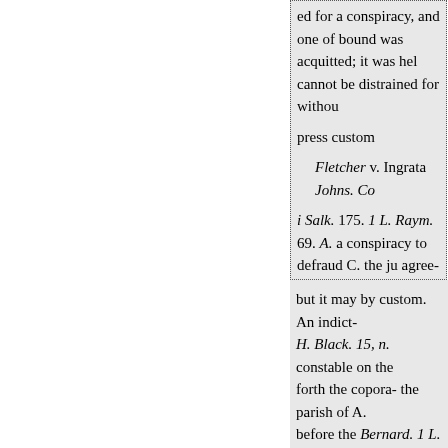ed for a conspiracy, and one of bound was acquitted; it was hel cannot be distrained for withou
press custom
Fletcher v. Ingrata Johns. Co
i Salk. 175. 1 L. Raym. 69. A. a conspiracy to defraud C. the ju agree- court, and not for a year, money from C. but with an inte corporation has no power of vo
but it may by custom. An indict- H. Black. 15, n. constable on the forth the copora- the parish of A. before the Bernard. 1 L. Raym. 9
constable of the parish of B.; eac
a justice of the peace. The K'ing
v. Dr. Franchard. 2 Str. 11.19. ha
Black, 13. are not excused fro